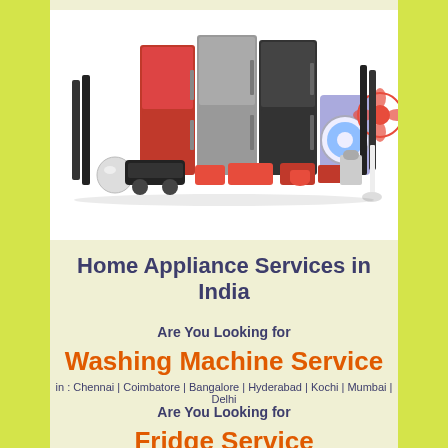[Figure (photo): Collection of home appliances including refrigerators, washing machine, fan, speakers, cookware, and other kitchen appliances in red and black colors on a white background]
Home Appliance Services in India
Are You Looking for
Washing Machine Service
in : Chennai | Coimbatore | Bangalore | Hyderabad | Kochi | Mumbai | Delhi
Are You Looking for
Fridge Service